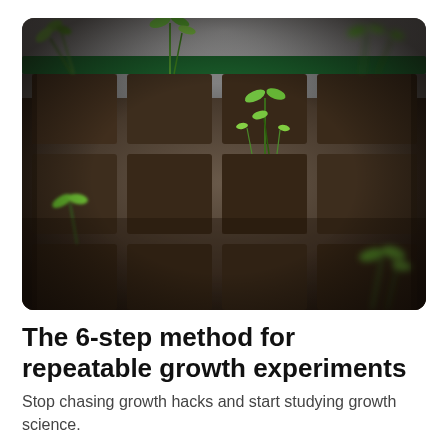[Figure (photo): Close-up photograph of young green seedlings sprouting from dark soil in a segmented seed tray, with a blurred grey background. A green strip is visible at the top edge of the tray.]
The 6-step method for repeatable growth experiments
Stop chasing growth hacks and start studying growth science.